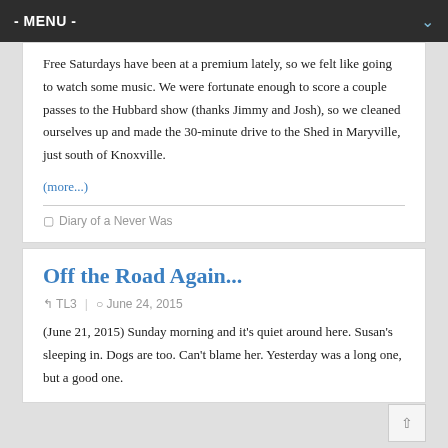- MENU -
Free Saturdays have been at a premium lately, so we felt like going to watch some music. We were fortunate enough to score a couple passes to the Hubbard show (thanks Jimmy and Josh), so we cleaned ourselves up and made the 30-minute drive to the Shed in Maryville, just south of Knoxville.
(more...)
Diary of a Never Was
Off the Road Again...
TL3  |  June 24, 2015
(June 21, 2015) Sunday morning and it's quiet around here. Susan's sleeping in. Dogs are too. Can't blame her. Yesterday was a long one, but a good one.